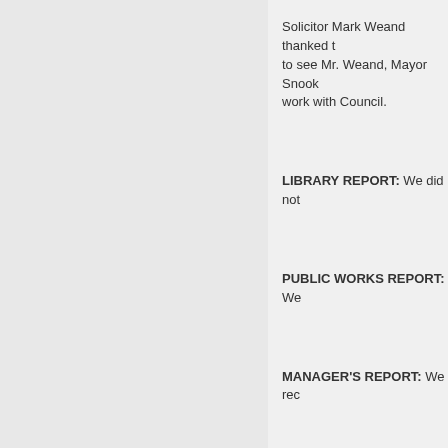Solicitor Mark Weand thanked the Council. It was good to see Mr. Weand, Mayor Snook said. He looks forward to work with Council.
LIBRARY REPORT: We did not
PUBLIC WORKS REPORT: We
MANAGER'S REPORT: We rec
BUILDING OFFICIAL'S REPO
SOLICITOR'S REPORT: We re